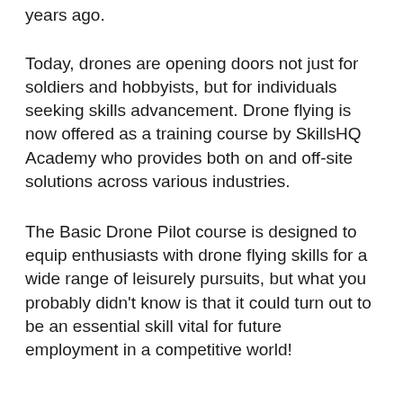years ago.
Today, drones are opening doors not just for soldiers and hobbyists, but for individuals seeking skills advancement. Drone flying is now offered as a training course by SkillsHQ Academy who provides both on and off-site solutions across various industries.
The Basic Drone Pilot course is designed to equip enthusiasts with drone flying skills for a wide range of leisurely pursuits, but what you probably didn't know is that it could turn out to be an essential skill vital for future employment in a competitive world!